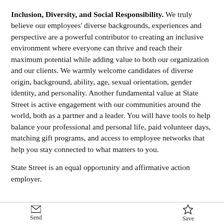Inclusion, Diversity, and Social Responsibility. We truly believe our employees' diverse backgrounds, experiences and perspective are a powerful contributor to creating an inclusive environment where everyone can thrive and reach their maximum potential while adding value to both our organization and our clients. We warmly welcome candidates of diverse origin, background, ability, age, sexual orientation, gender identity, and personality. Another fundamental value at State Street is active engagement with our communities around the world, both as a partner and a leader. You will have tools to help balance your professional and personal life, paid volunteer days, matching gift programs, and access to employee networks that help you stay connected to what matters to you.
State Street is an equal opportunity and affirmative action employer.
Send   Save